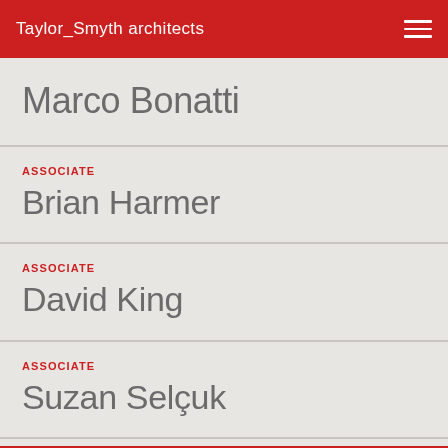Taylor_Smyth architects
Marco Bonatti
ASSOCIATE
Brian Harmer
ASSOCIATE
David King
ASSOCIATE
Suzan Selçuk